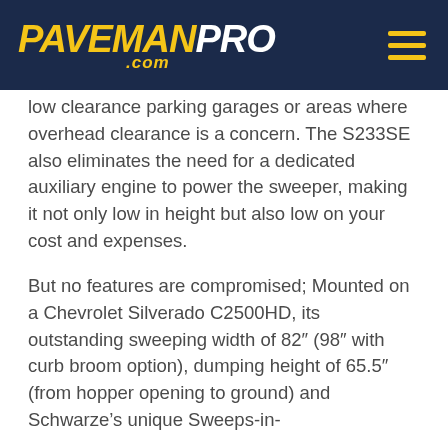PAVEMAN PRO .com
low clearance parking garages or areas where overhead clearance is a concern. The S233SE also eliminates the need for a dedicated auxiliary engine to power the sweeper, making it not only low in height but also low on your cost and expenses.
But no features are compromised; Mounted on a Chevrolet Silverado C2500HD, its outstanding sweeping width of 82″ (98″ with curb broom option), dumping height of 65.5″ (from hopper opening to ground) and Schwarze’s unique Sweeps-in-